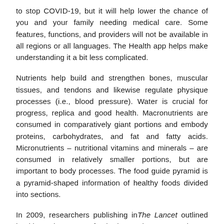to stop COVID-19, but it will help lower the chance of you and your family needing medical care. Some features, functions, and providers will not be available in all regions or all languages. The Health app helps make understanding it a bit less complicated.
Nutrients help build and strengthen bones, muscular tissues, and tendons and likewise regulate physique processes (i.e., blood pressure). Water is crucial for progress, replica and good health. Macronutrients are consumed in comparatively giant portions and embody proteins, carbohydrates, and fat and fatty acids. Micronutrients – nutritional vitamins and minerals – are consumed in relatively smaller portions, but are important to body processes. The food guide pyramid is a pyramid-shaped information of healthy foods divided into sections.
In 2009, researchers publishing inThe Lancet outlined health as the power of a body to adapt to new threats and